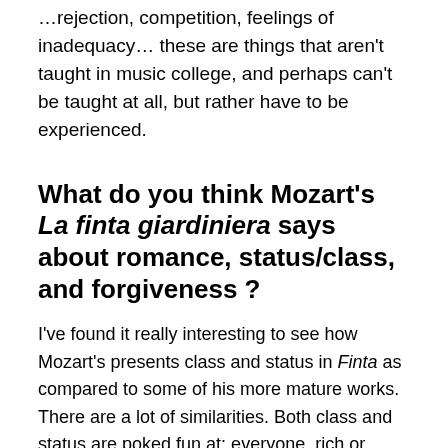…rejection, competition, feelings of inadequacy… these are things that aren't taught in music college, and perhaps can't be taught at all, but rather have to be experienced.
What do you think Mozart's La finta giardiniera says about romance, status/class, and forgiveness ?
I've found it really interesting to see how Mozart's presents class and status in Finta as compared to some of his more mature works. There are a lot of similarities. Both class and status are poked fun at: everyone, rich or poor, seem to be as hapless as each other. As in The Marriage of Figaro, the aristocracy